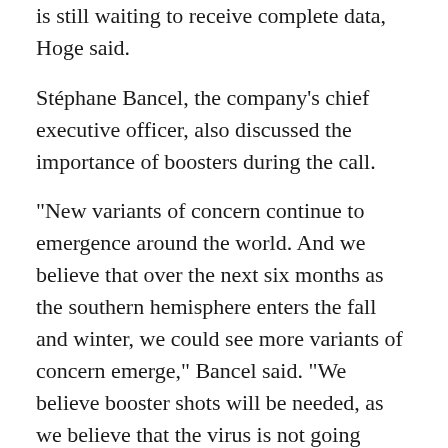is still waiting to receive complete data, Hoge said.
Stéphane Bancel, the company's chief executive officer, also discussed the importance of boosters during the call.
"New variants of concern continue to emergence around the world. And we believe that over the next six months as the southern hemisphere enters the fall and winter, we could see more variants of concern emerge," Bancel said. "We believe booster shots will be needed, as we believe that the virus is not going away."
RELATED: Biden says Pfizer's vaccine approval for kids 12-15 is 'one more giant step' in ending pandemic
Moderna and Pfizer are two of the three FDA-